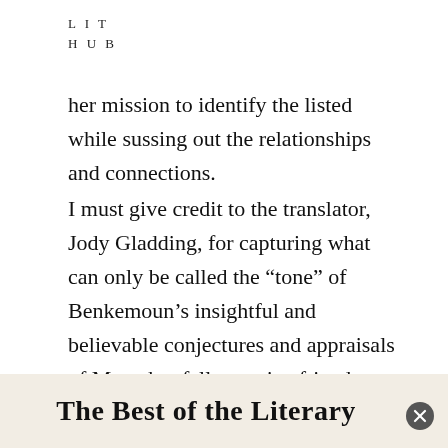L I T
H U B
her mission to identify the listed while sussing out the relationships and connections.
I must give credit to the translator, Jody Gladding, for capturing what can only be called the “tone” of Benkemoun’s insightful and believable conjectures and appraisals of Maar, her fellow artist, friends, sometime friends, and contemporaries. Having pictures of people and art work would have enhanced, making vivid, this fascinating moment in art history.
The Best of the Literary